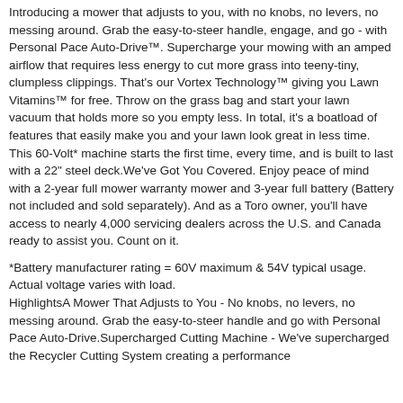Introducing a mower that adjusts to you, with no knobs, no levers, no messing around. Grab the easy-to-steer handle, engage, and go - with Personal Pace Auto-Drive™. Supercharge your mowing with an amped airflow that requires less energy to cut more grass into teeny-tiny, clumpless clippings. That's our Vortex Technology™ giving you Lawn Vitamins™ for free. Throw on the grass bag and start your lawn vacuum that holds more so you empty less. In total, it's a boatload of features that easily make you and your lawn look great in less time. This 60-Volt* machine starts the first time, every time, and is built to last with a 22" steel deck.We've Got You Covered. Enjoy peace of mind with a 2-year full mower warranty mower and 3-year full battery (Battery not included and sold separately). And as a Toro owner, you'll have access to nearly 4,000 servicing dealers across the U.S. and Canada ready to assist you. Count on it.
*Battery manufacturer rating = 60V maximum & 54V typical usage. Actual voltage varies with load. HighlightsA Mower That Adjusts to You - No knobs, no levers, no messing around. Grab the easy-to-steer handle and go with Personal Pace Auto-Drive.Supercharged Cutting Machine - We've supercharged the Recycler Cutting System creating a performance